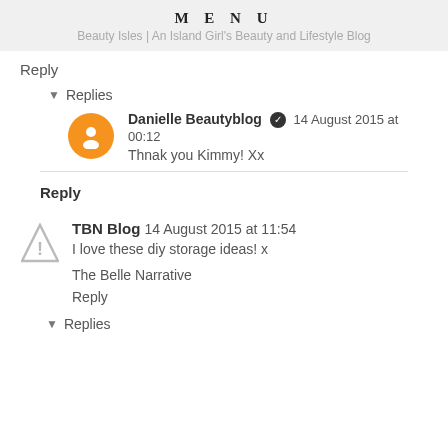MENU
Beauty Isles | An Island Girl's Beauty and Lifestyle Blog
Reply
▾ Replies
Danielle Beautyblog ✔ 14 August 2015 at 00:12
Thnak you Kimmy! Xx
Reply
TBN Blog 14 August 2015 at 11:54
I love these diy storage ideas! x
The Belle Narrative
Reply
▾ Replies